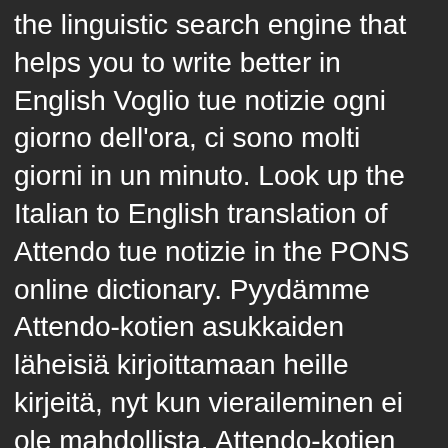the linguistic search engine that helps you to write better in English Voglio tue notizie ogni giorno dell'ora, ci sono molti giorni in un minuto. Look up the Italian to English translation of Attendo tue notizie in the PONS online dictionary. Pyydämme Attendo-kotien asukkaiden läheisiä kirjoittamaan heille kirjeitä, nyt kun vieraileminen ei ole mahdollista. Attendo-kotien asukkaat tarttuvat tottuneesti kaulimeen ja painavat sydänmuotilla taikinasta pipareita hoitajien avustaessa. Originally used in relation to the stretching of a bow, when taking aim at a target. Attendo ja yhteistyötahot voivat kerätä evästetietoa markkinoinnin kohdentamiseksi. English. Lue lisää. Discover how to efficiently generate numerous reports on data collected in Attendo system. I put